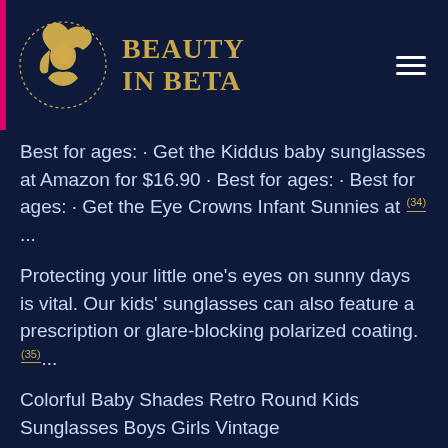BEAUTY IN BETA
Best for ages: · Get the Kiddus baby sunglasses at Amazon for $16.90 · Best for ages: · Best for ages: · Get the Eye Crowns Infant Sunnies at (34)...
Protecting your little one's eyes on sunny days is vital. Our kids' sunglasses can also feature a prescription or glare-blocking polarized coating.(35)...
Colorful Baby Shades Retro Round Kids Sunglasses Boys Girls Vintage